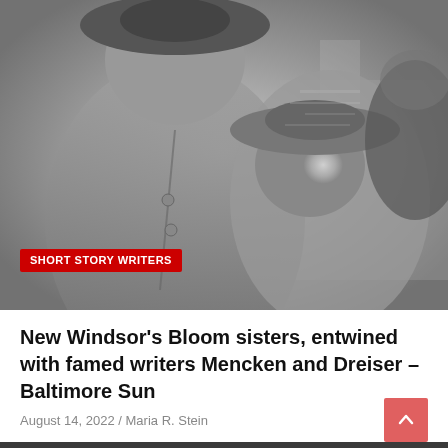[Figure (photo): Black and white historical photograph showing two women wearing hats, one standing prominently in the foreground wearing a jacket with buttons, another behind her wearing a wide-brimmed hat]
SHORT STORY WRITERS
New Windsor's Bloom sisters, entwined with famed writers Mencken and Dreiser – Baltimore Sun
August 14, 2022 / Maria R. Stein
Copyright © 2022 Golshiri Foundation | Privacy Policy